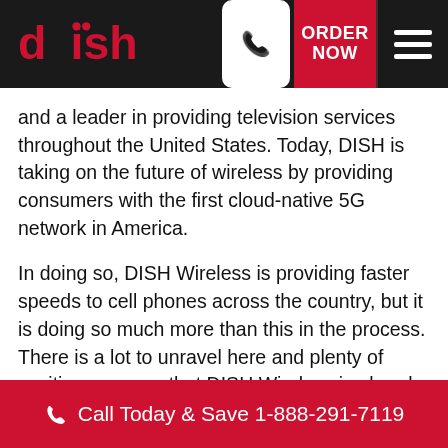DISH - ORDER NOW
and a leader in providing television services throughout the United States. Today, DISH is taking on the future of wireless by providing consumers with the first cloud-native 5G network in America.
In doing so, DISH Wireless is providing faster speeds to cell phones across the country, but it is doing so much more than this in the process. There is a lot to unravel here and plenty of exciting avenues that DISH Wireless is already exploring. The way we communicate is set to change forever as 5G continues to expand its reach across the United States and DISH Wireless is leading the charge.
Call Today & Save 1-888-291-7119